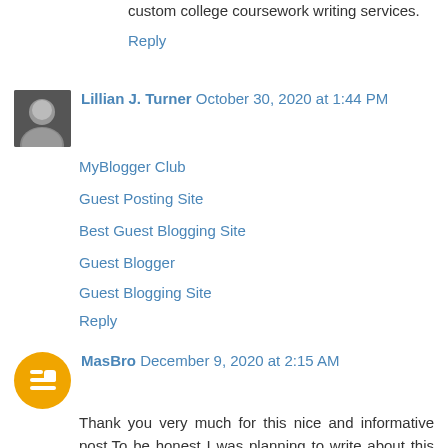custom college coursework writing services.
Reply
Lillian J. Turner  October 30, 2020 at 1:44 PM
MyBlogger Club
Guest Posting Site
Best Guest Blogging Site
Guest Blogger
Guest Blogging Site
Reply
MasBro  December 9, 2020 at 2:15 AM
Thank you very much for this nice and informative post.To be honest I was planning to write about this topic and I intended to not dig to this wonderful article and I...